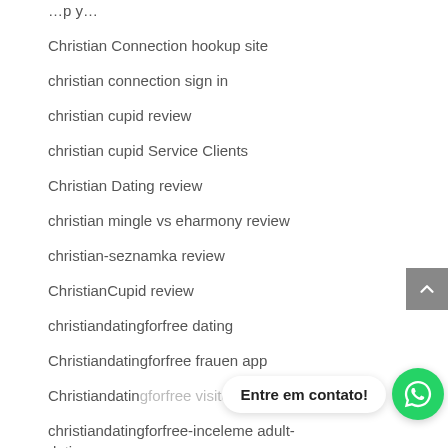Christian Connection hookup site
christian connection sign in
christian cupid review
christian cupid Service Clients
Christian Dating review
christian mingle vs eharmony review
christian-seznamka review
ChristianCupid review
christiandatingforfree dating
Christiandatingforfree frauen app
Christiandatingforfree visitors
christiandatingforfree-inceleme adult-dating